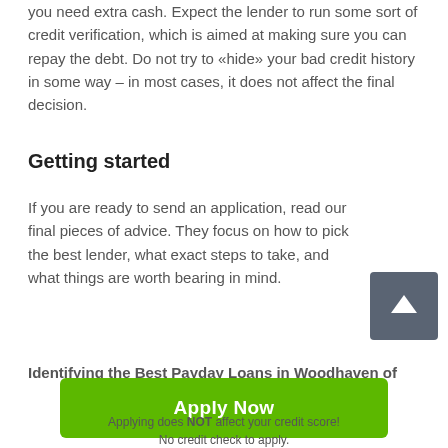you need extra cash. Expect the lender to run some sort of credit verification, which is aimed at making sure you can repay the debt. Do not try to «hide» your bad credit history in some way – in most cases, it does not affect the final decision.
Getting started
If you are ready to send an application, read our final pieces of advice. They focus on how to pick the best lender, what exact steps to take, and what things are worth bearing in mind.
Identifying the Best Payday Loans in Woodhaven of
[Figure (other): Green 'Apply Now' button]
Applying does NOT affect your credit score!
No credit check to apply.